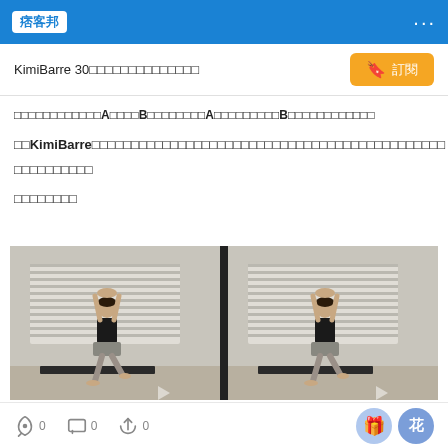痞客邦 ...
KimiBarre 30□□□□□□□□□□□□□□
□□□□□□□□□□□□A□□□□B□□□□□□□□A□□□□□□□□□B□□□□□□□□□□□□
□□KimiBarre□□□□□□□□□□□□□□□□□□□□□□□□□□□□□□□□□□□□□□□□□□□□□
□□□□□□□□□□
□□□□□□□□
[Figure (photo): Two side-by-side photos of a woman doing a barre/yoga pose with arms raised overhead, standing in a studio with venetian blinds behind her.]
0 comments, 0 shares, 0 reposts; gift and flower buttons